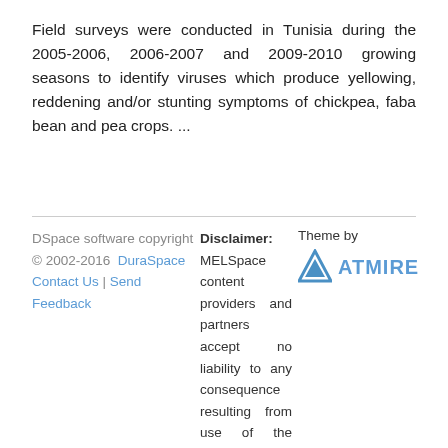Field surveys were conducted in Tunisia during the 2005-2006, 2006-2007 and 2009-2010 growing seasons to identify viruses which produce yellowing, reddening and/or stunting symptoms of chickpea, faba bean and pea crops. ...
DSpace software copyright © 2002-2016  DuraSpace  Contact Us | Send Feedback
Disclaimer: MELSpace content providers and partners accept no liability to any consequence resulting from use of the content or data made available in this repository. Users of this content assume full responsibility for compliance with all relevant national or international regulations and legislation.
Theme by ATMIRE